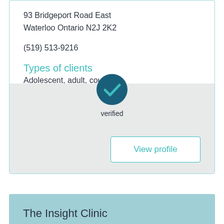93 Bridgeport Road East
Waterloo Ontario N2J 2K2
(519) 513-9216
Types of clients
Adolescent, adult, couple
Issue specialization
+ Show issues
[Figure (illustration): Teal circle with white checkmark icon labeled 'verified']
View profile
The Insight Clinic